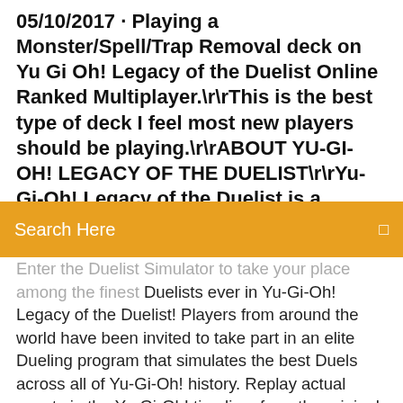05/10/2017 · Playing a Monster/Spell/Trap Removal deck on Yu Gi Oh! Legacy of the Duelist Online Ranked Multiplayer.\r\rThis is the best type of deck I feel most new players should be playing.\r\rABOUT YU-GI-OH! LEGACY OF THE DUELIST\r\rYu-Gi-Oh! Legacy of the Duelist is a console simulator released by Konami in TCC...
Search Here
Enter the Duelist Simulator to take your place among the finest Duelists ever in Yu-Gi-Oh! Legacy of the Duelist! Players from around the world have been invited to take part in an elite Dueling program that simulates the best Duels across all of Yu-Gi-Oh! history. Replay actual events in the Yu-Gi-Oh! timeline, from the original Yu-Gi-Oh! series up to Yu-Gi-Oh! ZEXAL, featuring the storylines Yu-Gi-Oh! Legacy of the Duelist/Card Shop | Yu-Gi ... The Card Shop in the Yu-Gi-Oh! Legacy of the Duelist is different from other Card Shops in Yu-Gi-Oh! video games as Booster Packs are from the characters in the game.